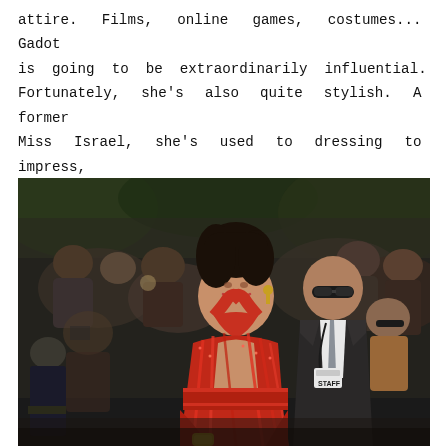attire. Films, online games, costumes... Gadot is going to be extraordinarily influential. Fortunately, she's also quite stylish. A former Miss Israel, she's used to dressing to impress, and isn't afraid to wear bold, eye-catching outfits on the red carpets.
[Figure (photo): A woman in a sparkling red halter-neck dress smiling at what appears to be a red carpet event, with a bald man in a dark suit and tie standing behind her. Crowd visible in the background.]